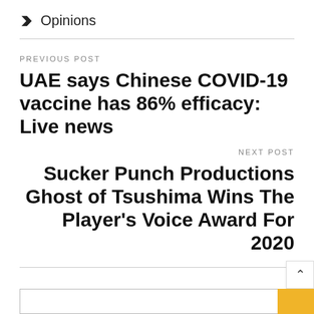Opinions
PREVIOUS POST
UAE says Chinese COVID-19 vaccine has 86% efficacy: Live news
NEXT POST
Sucker Punch Productions Ghost of Tsushima Wins The Player's Voice Award For 2020